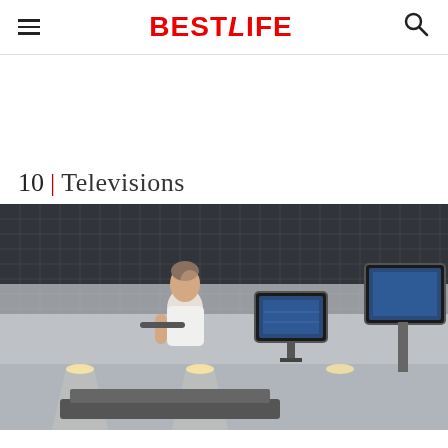BESTLIFE
10 | Televisions
[Figure (photo): Man on treadmill in a gym looking up at television screens mounted on the wall/ceiling, dark ceiling with grid tiles, bright gym lights below]